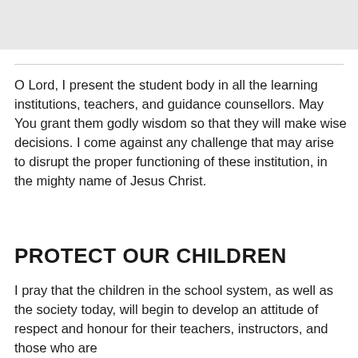O Lord, I present the student body in all the learning institutions, teachers, and guidance counsellors. May You grant them godly wisdom so that they will make wise decisions. I come against any challenge that may arise to disrupt the proper functioning of these institution, in the mighty name of Jesus Christ.
PROTECT OUR CHILDREN
I pray that the children in the school system, as well as the society today, will begin to develop an attitude of respect and honour for their teachers, instructors, and those who are